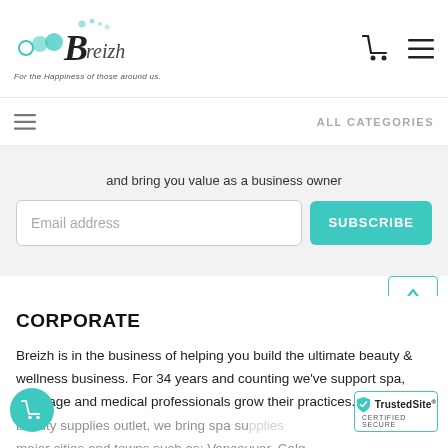Breizh — For the Happiness of those around us.
and bring you value as a business owner
Email address
SUBSCRIBE
CORPORATE
Breizh is in the business of helping you build the ultimate beauty & wellness business. For 34 years and counting we've support spa, massage and medical professionals grow their practices. national beauty supplies outlet, we bring spa supplies major cities and towns such as: Vancouver, Calg